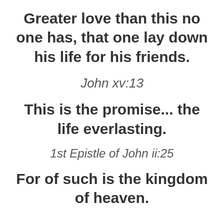Greater love than this no one has, that one lay down his life for his friends.
John xv:13
This is the promise... the life everlasting.
1st Epistle of John ii:25
For of such is the kingdom of heaven.